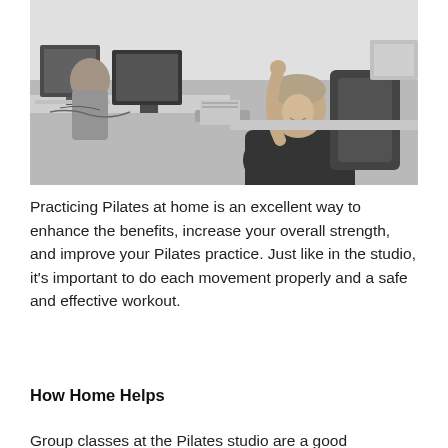[Figure (photo): Black and white photograph of a man sitting at an office desk with computers and papers, raising one arm up and smiling, in an open-plan office environment.]
Practicing Pilates at home is an excellent way to enhance the benefits, increase your overall strength, and improve your Pilates practice. Just like in the studio, it's important to do each movement properly and a safe and effective workout.
How Home Helps
Group classes at the Pilates studio are a good